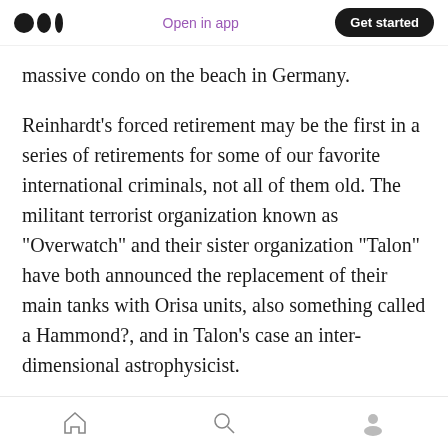Open in app | Get started
massive condo on the beach in Germany.
Reinhardt’s forced retirement may be the first in a series of retirements for some of our favorite international criminals, not all of them old. The militant terrorist organization known as “Overwatch” and their sister organization “Talon” have both announced the replacement of their main tanks with Orisa units, also something called a Hammond?, and in Talon’s case an inter-dimensional astrophysicist.
During the earliest parts of his career, Reinhardt
Home | Search | Profile